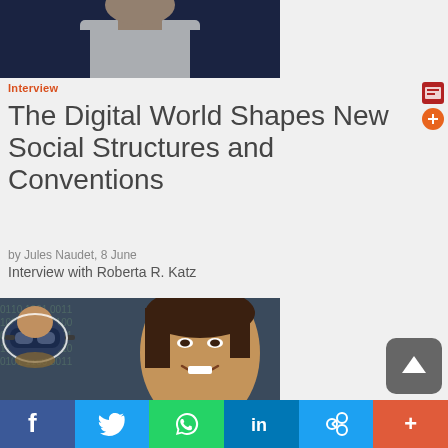[Figure (photo): Partial photo of a person in dark jacket, partially cropped at top]
Interview
The Digital World Shapes New Social Structures and Conventions
by Jules Naudet, 8 June
Interview with Roberta R. Katz
[Figure (photo): Photo of a smiling woman with dark background containing digital code patterns; VR headset sticker in lower left]
f  Twitter  WhatsApp  in  Links  +